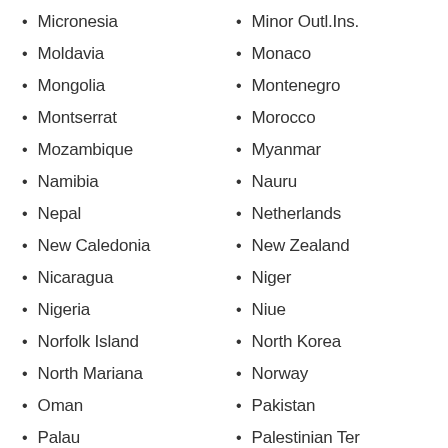Micronesia
Moldavia
Mongolia
Montserrat
Mozambique
Namibia
Nepal
New Caledonia
Nicaragua
Nigeria
Norfolk Island
North Mariana
Oman
Palau
Panama
Minor Outl.Ins.
Monaco
Montenegro
Morocco
Myanmar
Nauru
Netherlands
New Zealand
Niger
Niue
North Korea
Norway
Pakistan
Palestinian Ter
PapuaNewGuinea